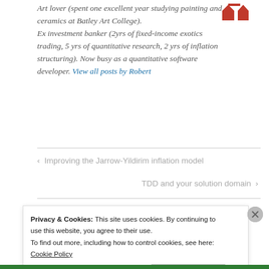Art lover (spent one excellent year studying painting and ceramics at Batley Art College). Ex investment banker (2yrs of fixed-income exotics trading, 5 yrs of quantitative research, 2 yrs of inflation structuring). Now busy as a quantitative software developer. View all posts by Robert
[Figure (logo): Red and white logo with triangular/arrow shapes forming a symbol]
< Improving the Jarrow-Yildirim inflation model
TDD and your solution domain >
Privacy & Cookies: This site uses cookies. By continuing to use this website, you agree to their use. To find out more, including how to control cookies, see here: Cookie Policy
Close and accept